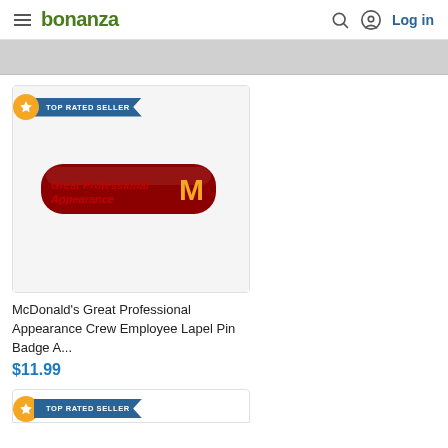bonanza — Log in
[Figure (screenshot): Gray banner/hero area placeholder]
[Figure (photo): McDonald's Great Professional Appearance crew employee lapel pin badge — dark red/maroon rectangular pin with golden arches logo]
McDonald's Great Professional Appearance Crew Employee Lapel Pin Badge A...
$11.99
TOP RATED SELLER